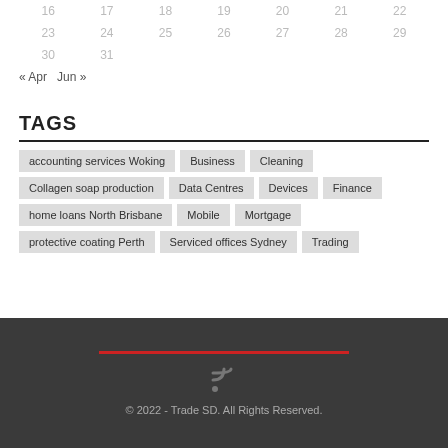| 16 | 17 | 18 | 19 | 20 | 21 | 22 |
| 23 | 24 | 25 | 26 | 27 | 28 | 29 |
| 30 | 31 |  |  |  |  |  |
« Apr   Jun »
TAGS
accounting services Woking
Business
Cleaning
Collagen soap production
Data Centres
Devices
Finance
home loans North Brisbane
Mobile
Mortgage
protective coating Perth
Serviced offices Sydney
Trading
© 2022 - Trade SD. All Rights Reserved.